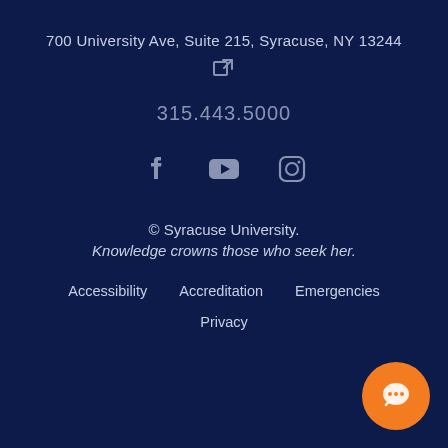700 University Ave, Suite 215, Syracuse, NY 13244
[Figure (other): External link icon (box with arrow)]
315.443.5000
[Figure (other): Social media icons: Facebook, YouTube, Instagram]
© Syracuse University.
Knowledge crowns those who seek her.
Accessibility   Accreditation   Emergencies
Privacy
[Figure (other): Orange circular chat/speech bubble button in bottom right corner]